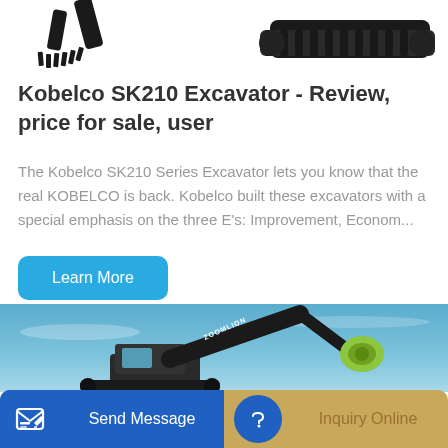[Figure (photo): Two excavator thumbnail images at top of page, partially cropped, showing excavator boom and tracks on white background]
Kobelco SK210 Excavator - Review, price for sale, user
The Kobelco SK210 Series Excavator lets you know that the real KOBELCO is back. Kobelco built these excavators with a special emphasis on the three E's: Improvement, Econom...
[Figure (other): Teal/blue 'Learn More' rounded button]
[Figure (photo): Zoomlion excavator with green/lime arm attachment against blue sky background]
[Figure (other): Bottom bar with blue 'Send Message' button on left and gold/beige 'Inquiry Online' button on right]